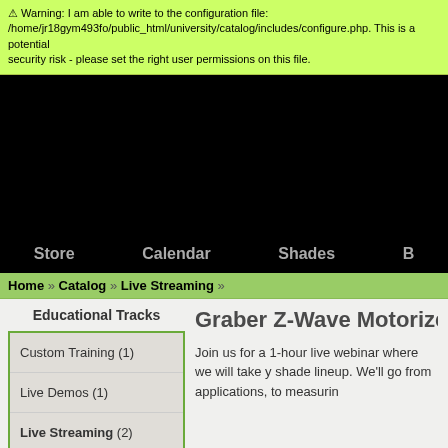⚠ Warning: I am able to write to the configuration file: /home/jr18gym493fo/public_html/university/catalog/includes/configure.php. This is a potential security risk - please set the right user permissions on this file.
[Figure (screenshot): Black banner area (header image area)]
Store  Calendar  Shades  B
Home » Catalog » Live Streaming »
Educational Tracks
Graber Z-Wave Motorized S
Custom Training (1)
Live Demos (1)
Live Streaming (2)
Manufacturer (19)
Join us for a 1-hour live webinar where we will take y shade lineup. We'll go from applications, to measurin
This product was added to